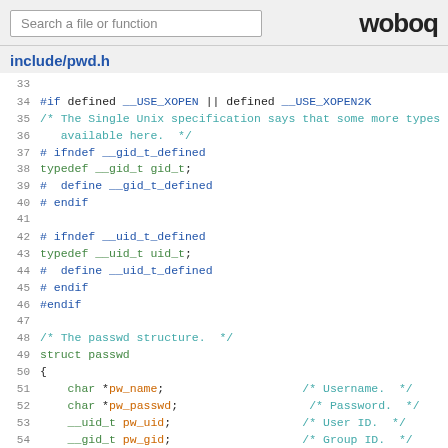Search a file or function | woboq
include/pwd.h
Source code listing for include/pwd.h lines 33-58